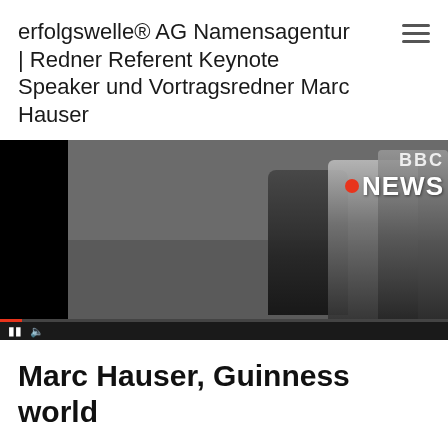erfolgswelle® AG Namensagentur | Redner Referent Keynote Speaker und Vortragsredner Marc Hauser
[Figure (screenshot): Video player screenshot showing BBC NEWS logo in top right corner with an orange/red dot, people walking in the background. Video controls visible at bottom with pause button, volume icon, and a red progress bar. Left side shows black letterbox bar.]
Marc Hauser, Guinness world